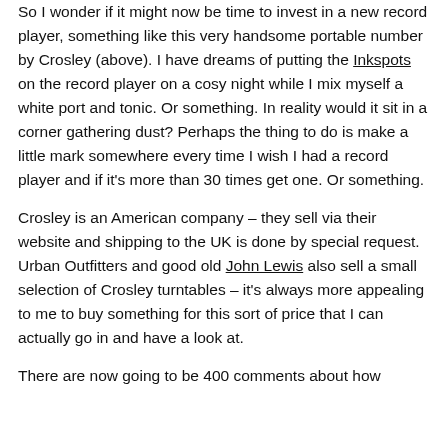So I wonder if it might now be time to invest in a new record player, something like this very handsome portable number by Crosley (above). I have dreams of putting the Inkspots on the record player on a cosy night while I mix myself a white port and tonic. Or something. In reality would it sit in a corner gathering dust? Perhaps the thing to do is make a little mark somewhere every time I wish I had a record player and if it's more than 30 times get one. Or something.
Crosley is an American company – they sell via their website and shipping to the UK is done by special request. Urban Outfitters and good old John Lewis also sell a small selection of Crosley turntables – it's always more appealing to me to buy something for this sort of price that I can actually go in and have a look at.
There are now going to be 400 comments about how